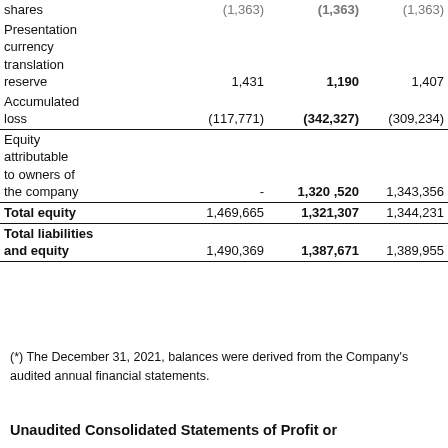|  | Col1 | Col2 | Col3 |
| --- | --- | --- | --- |
| Shares | (1,363) | (1,363) | (1,363) |
| Presentation currency translation reserve | 1,431 | 1,190 | 1,407 |
| Accumulated loss | (117,771) | (342,327) | (309,234) |
| Equity attributable to owners of the company | - | 1,320,520 | 1,343,356 |
| Total equity | 1,469,665 | 1,321,307 | 1,344,231 |
| Total liabilities and equity | 1,490,369 | 1,387,671 | 1,389,955 |
(*) The December 31, 2021, balances were derived from the Company's audited annual financial statements.
Unaudited Consolidated Statements of Profit or